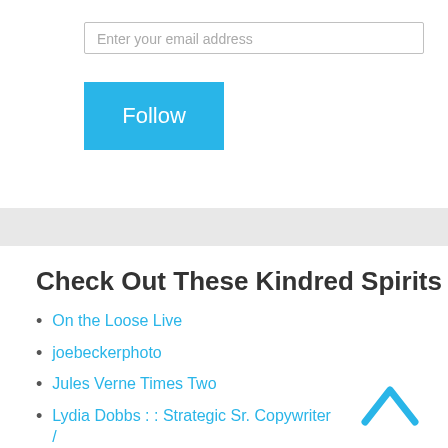Enter your email address
Follow
Check Out These Kindred Spirits
On the Loose Live
joebeckerphoto
Jules Verne Times Two
Lydia Dobbs : : Strategic Sr. Copywriter / Creative Director